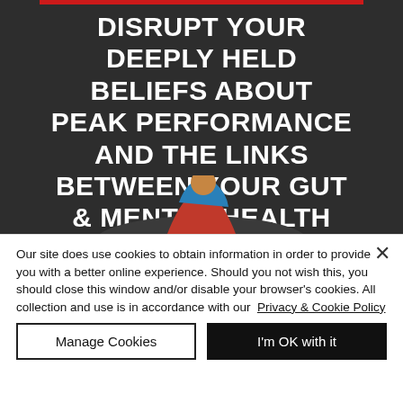[Figure (illustration): Dark background banner image with bold white uppercase text reading 'DISRUPT YOUR DEEPLY HELD BELIEFS ABOUT PEAK PERFORMANCE AND THE LINKS BETWEEN YOUR GUT & MENTAL HEALTH', with a red top bar and a partial athlete figure at the bottom.]
Our site does use cookies to obtain information in order to provide you with a better online experience. Should you not wish this, you should close this window and/or disable your browser's cookies. All collection and use is in accordance with our Privacy & Cookie Policy
Manage Cookies
I'm OK with it